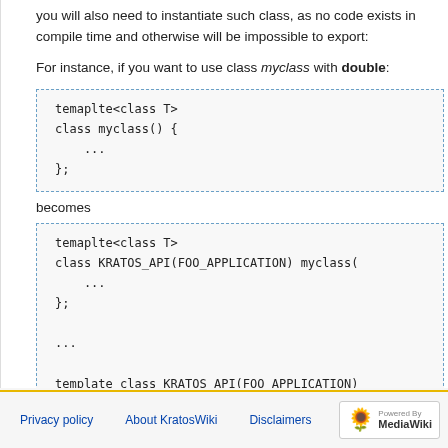you will also need to instantiate such class, as no code exists in compile time and otherwise will be impossible to export:
For instance, if you want to use class myclass with double:
[Figure (screenshot): Code block with dashed blue border showing: temaplte<class T>
class myclass() {
    ...
};]
becomes
[Figure (screenshot): Code block with dashed blue border showing: temaplte<class T>
class KRATOS_API(FOO_APPLICATION) myclass(
    ...
};

...

template class KRATOS_API(FOO_APPLICATION)]
Privacy policy   About KratosWiki   Disclaimers   Powered By MediaWiki